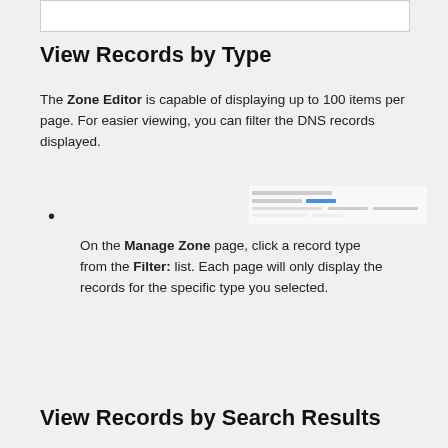[Figure (screenshot): Screenshot of the Manage Zone page showing a filter list for DNS record types]
View Records by Type
The Zone Editor is capable of displaying up to 100 items per page. For easier viewing, you can filter the DNS records displayed.
On the Manage Zone page, click a record type from the Filter: list. Each page will only display the records for the specific type you selected.
View Records by Search Results